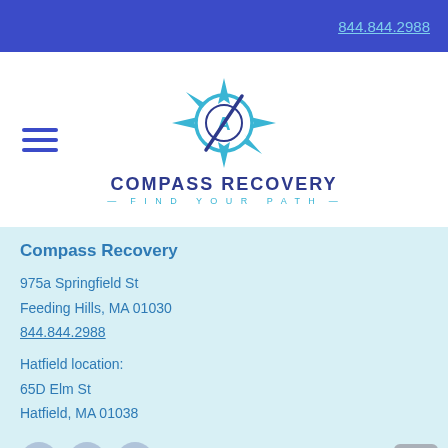844.844.2988
[Figure (logo): Compass Recovery logo — compass rose with stylized C and letter A in center, teal and blue colors]
COMPASS RECOVERY — FIND YOUR PATH —
Compass Recovery
975a Springfield St
Feeding Hills, MA 01030
844.844.2988
Hatfield location:
65D Elm St
Hatfield, MA 01038